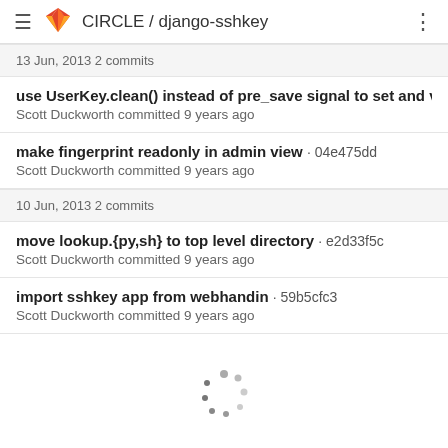CIRCLE / django-sshkey
13 Jun, 2013 2 commits
use UserKey.clean() instead of pre_save signal to set and verify f
Scott Duckworth committed 9 years ago
make fingerprint readonly in admin view · 04e475dd
Scott Duckworth committed 9 years ago
10 Jun, 2013 2 commits
move lookup.{py,sh} to top level directory · e2d33f5c
Scott Duckworth committed 9 years ago
import sshkey app from webhandin · 59b5cfc3
Scott Duckworth committed 9 years ago
[Figure (other): Loading spinner animation]